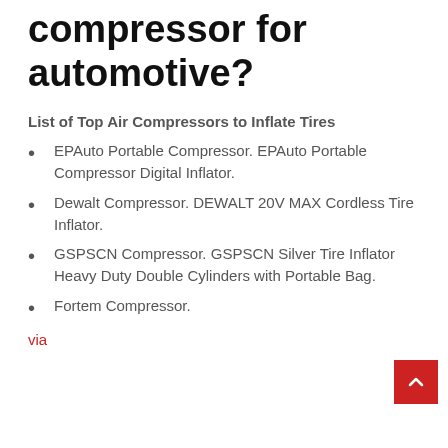compressor for automotive?
List of Top Air Compressors to Inflate Tires
EPAuto Portable Compressor. EPAuto Portable Compressor Digital Inflator.
Dewalt Compressor. DEWALT 20V MAX Cordless Tire Inflator.
GSPSCN Compressor. GSPSCN Silver Tire Inflator Heavy Duty Double Cylinders with Portable Bag.
Fortem Compressor.
via